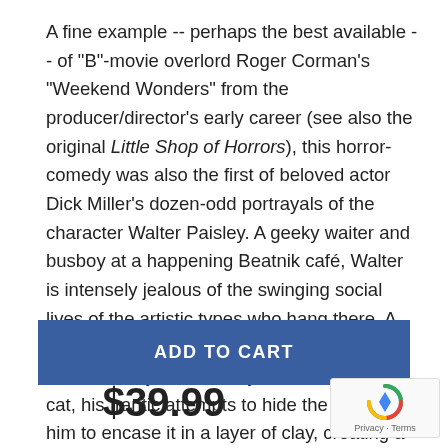A fine example -- perhaps the best available -- of "B"-movie overlord Roger Corman's "Weekend Wonders" from the producer/director's early career (see also the original Little Shop of Horrors), this horror-comedy was also the first of beloved actor Dick Miller's dozen-odd portrayals of the character Walter Paisley. A geeky waiter and busboy at a happening Beatnik café, Walter is intensely jealous of the swinging social lives of the artistic types who hang there. A bizarre twist of fate changes everything; when Paisley accidentally kills his landlady's cat, his frantic attempts to hide the body lead him to encase it in a layer of clay, creating a morbid sculpture -- which is eventually discovered and hailed as an artistic triumph by the unwitting
ADD TO CART
$39.99